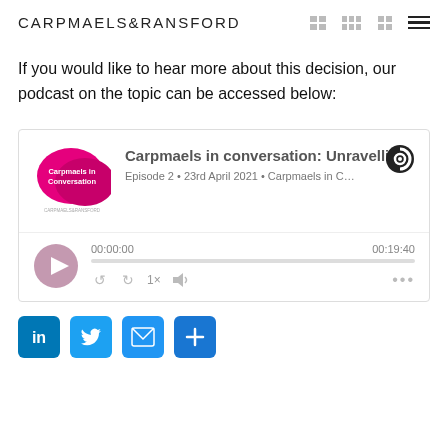CARPMAELS&RANSFORD
If you would like to hear more about this decision, our podcast on the topic can be accessed below:
[Figure (screenshot): Podcast player widget for 'Carpmaels in conversation: Unravellin...' Episode 2, 23rd April 2021, Carpmaels in C... Duration 00:19:40, showing play button, progress bar, and player controls.]
[Figure (infographic): Social share buttons: LinkedIn, Twitter, Email, and a plus/more button]